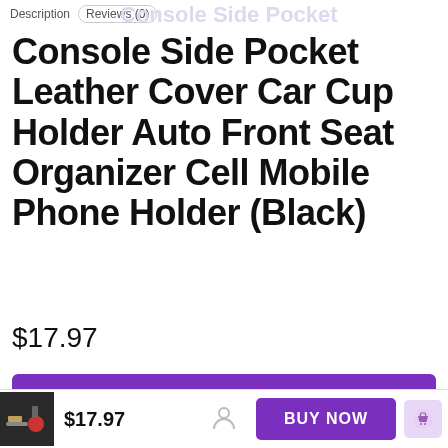Description  Reviews (0)  Console Side Pocket
Console Side Pocket Leather Cover Car Cup Holder Auto Front Seat Organizer Cell Mobile Phone Holder (Black)
$17.97
BUY NOW
$17.97  BUY NOW